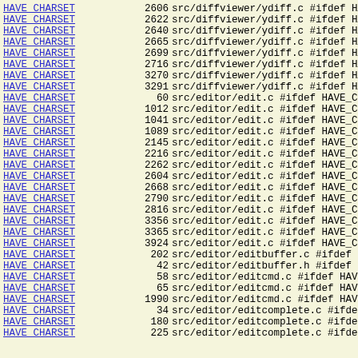| Symbol | Line | File/Context |
| --- | --- | --- |
| HAVE_CHARSET | 2606 | src/diffviewer/ydiff.c #ifdef HAVE_ |
| HAVE_CHARSET | 2622 | src/diffviewer/ydiff.c #ifdef HAVE_ |
| HAVE_CHARSET | 2640 | src/diffviewer/ydiff.c #ifdef HAVE_ |
| HAVE_CHARSET | 2665 | src/diffviewer/ydiff.c #ifdef HAVE_ |
| HAVE_CHARSET | 2699 | src/diffviewer/ydiff.c #ifdef HAVE_ |
| HAVE_CHARSET | 2716 | src/diffviewer/ydiff.c #ifdef HAVE_ |
| HAVE_CHARSET | 3270 | src/diffviewer/ydiff.c #ifdef HAVE_ |
| HAVE_CHARSET | 3291 | src/diffviewer/ydiff.c #ifdef HAVE_ |
| HAVE_CHARSET | 60 | src/editor/edit.c #ifdef HAVE_CHARS |
| HAVE_CHARSET | 1012 | src/editor/edit.c #ifdef HAVE_CHARS |
| HAVE_CHARSET | 1041 | src/editor/edit.c #ifdef HAVE_CHARS |
| HAVE_CHARSET | 1089 | src/editor/edit.c #ifdef HAVE_CHARS |
| HAVE_CHARSET | 2145 | src/editor/edit.c #ifdef HAVE_CHARS |
| HAVE_CHARSET | 2216 | src/editor/edit.c #ifdef HAVE_CHARS |
| HAVE_CHARSET | 2262 | src/editor/edit.c #ifdef HAVE_CHARS |
| HAVE_CHARSET | 2604 | src/editor/edit.c #ifdef HAVE_CHARS |
| HAVE_CHARSET | 2668 | src/editor/edit.c #ifdef HAVE_CHARS |
| HAVE_CHARSET | 2790 | src/editor/edit.c #ifdef HAVE_CHARS |
| HAVE_CHARSET | 2816 | src/editor/edit.c #ifdef HAVE_CHARS |
| HAVE_CHARSET | 3356 | src/editor/edit.c #ifdef HAVE_CHARS |
| HAVE_CHARSET | 3365 | src/editor/edit.c #ifdef HAVE_CHARS |
| HAVE_CHARSET | 3924 | src/editor/edit.c #ifdef HAVE_CHARS |
| HAVE_CHARSET | 202 | src/editor/editbuffer.c #ifdef HAVE |
| HAVE_CHARSET | 42 | src/editor/editbuffer.h #ifdef HAVE |
| HAVE_CHARSET | 58 | src/editor/editcmd.c #ifdef HAVE_CH |
| HAVE_CHARSET | 65 | src/editor/editcmd.c #ifdef HAVE_CH |
| HAVE_CHARSET | 1990 | src/editor/editcmd.c #ifdef HAVE_CH |
| HAVE_CHARSET | 34 | src/editor/editcomplete.c #ifdef HA |
| HAVE_CHARSET | 180 | src/editor/editcomplete.c #ifdef HA |
| HAVE_CHARSET | 225 | src/editor/editcomplete.c #ifdef HA |